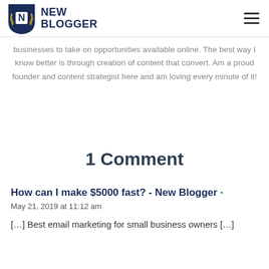NEW BLOGGER
businesses to take on opportunities available online. The best way I know better is through creation of content that convert. Am a proud founder and content strategist here and am loving every minute of it!
1 Comment
How can I make $5000 fast? - New Blogger
May 21, 2019 at 11:12 am
[…] Best email marketing for small business owners […]